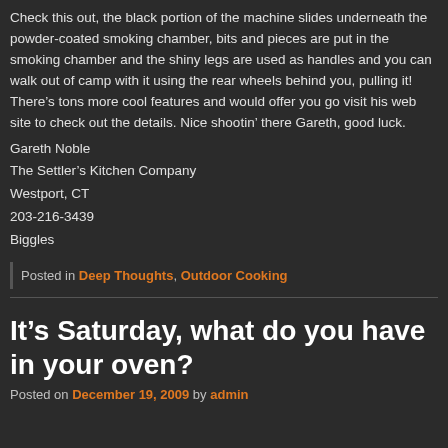Check this out, the black portion of the machine slides underneath the powder-coated smoking chamber, bits and pieces are put in the smoking chamber and the shiny legs are used as handles and you can walk out of camp with it using the rear wheels behind you, pulling it! There’s tons more cool features and would offer you go visit his web site to check out the details. Nice shootin’ there Gareth, good luck.
Gareth Noble
The Settler’s Kitchen Company
Westport, CT
203-216-3439
Biggles
Posted in Deep Thoughts, Outdoor Cooking
It’s Saturday, what do you have in your oven?
Posted on December 19, 2009 by admin